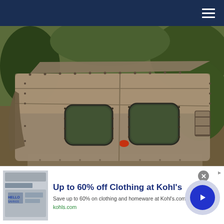Navigation bar
[Figure (photo): Large section of aircraft fuselage wreckage lying on the ground surrounded by trees and vegetation. The metal panel shows two rectangular windows with rounded corners and riveted construction, heavily weathered and corroded.]
Thousands of small pieces of the Flight 93 aircraft were found. Some large pieces were also recovered including this section of the fuselage measuring approximately 6 feet by 7 feet. The plane was said to be headed for the U.S. Capitol. (DO/National Park...
[Figure (screenshot): Advertisement banner: Up to 60% off Clothing at Kohl's. Save up to 60% on clothing and homeware at Kohl's.com. kohls.com]